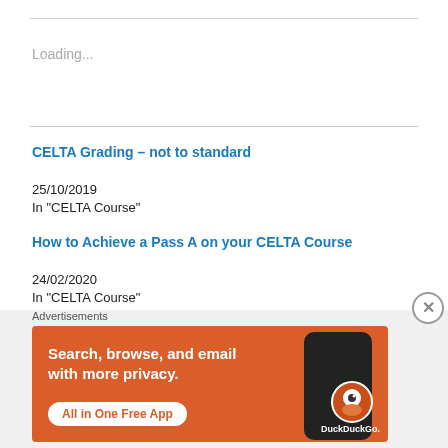Loading...
CELTA Grading – not to standard
25/10/2019
In "CELTA Course"
How to Achieve a Pass A on your CELTA Course
24/02/2020
In "CELTA Course"
Advertisements
[Figure (photo): DuckDuckGo advertisement banner with orange background. Text reads: Search, browse, and email with more privacy. All in One Free App. Shows a smartphone with DuckDuckGo branding.]